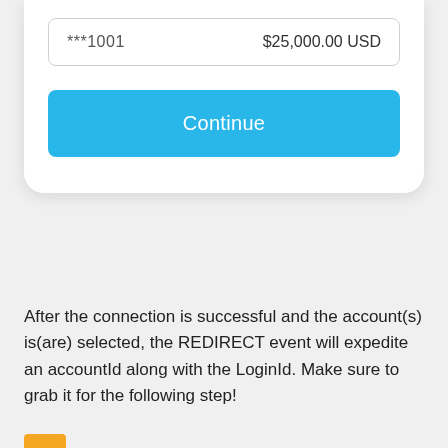| Account | Balance |
| --- | --- |
| ***1001 | $25,000.00 USD |
[Figure (screenshot): A blue 'Continue' button in a white card UI]
After the connection is successful and the account(s) is(are) selected, the REDIRECT event will expedite an accountId along with the LoginId. Make sure to grab it for the following step!